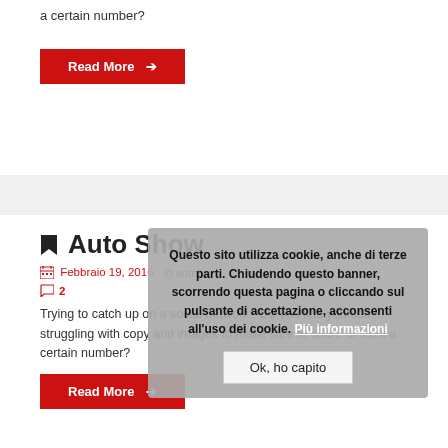a certain number?
Read More →
🔖 Auto Show
Febbraio 19, 2016  @admin  2
Trying to catch up on a social network? Do you find yourself struggling with copy and images to make sure to share at least a certain number?
Read More →
Questo sito utilizza cookie, anche di terze parti. Chiudendo questo banner, scorrendo questa pagina o cliccando sul pulsante di accettazione, acconsenti all'uso dei cookie. Più informazioni
Ok, ho capito